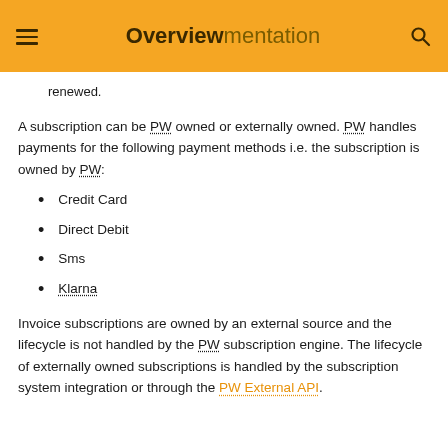Overview Documentation
renewed.
A subscription can be PW owned or externally owned. PW handles payments for the following payment methods i.e. the subscription is owned by PW:
Credit Card
Direct Debit
Sms
Klarna
Invoice subscriptions are owned by an external source and the lifecycle is not handled by the PW subscription engine. The lifecycle of externally owned subscriptions is handled by the subscription system integration or through the PW External API.